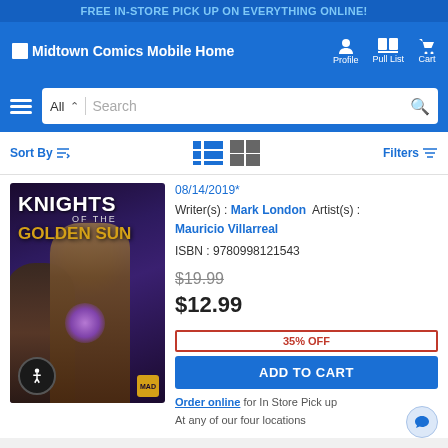FREE IN-STORE PICK UP ON EVERYTHING ONLINE!
Midtown Comics Mobile Home  Profile  Pull List  Cart
All  Search
Sort By  Filters
[Figure (photo): Knights of the Golden Sun comic book cover showing fantasy warrior figures]
08/14/2019*
Writer(s) : Mark London  Artist(s) : Mauricio Villarreal
ISBN : 9780998121543
$19.99
$12.99
35% OFF
ADD TO CART
Order online for In Store Pick up
At any of our four locations